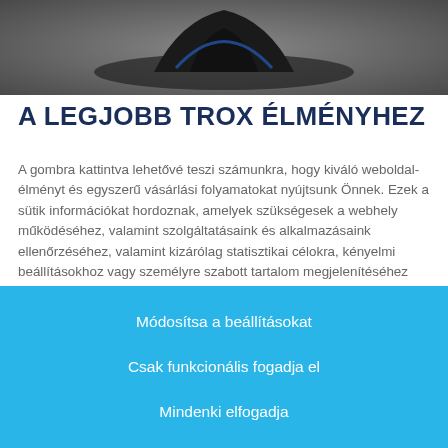[Figure (photo): Dark product photo at the top, showing a dark object (hat/speaker) on a grey background]
A LEGJOBB TROX ÉLMÉNYHEZ
A gombra kattintva lehetővé teszi számunkra, hogy kiváló weboldal-élményt és egyszerű vásárlási folyamatokat nyújtsunk Önnek. Ezek a sütik információkat hordoznak, amelyek szükségesek a webhely működéséhez, valamint szolgáltatásaink és alkalmazásaink ellenőrzéséhez, valamint kizárólag statisztikai célokra, kényelmi beállításokhoz vagy személyre szabott tartalom megjelenítéséhez használt információkat. Eldöntheti, hogy mely kategóriákat kívánja engedélyezni, és az egyedi igényeknek megfelelően módosíthatja az adatfelhasználási beállításokat. Felhívjuk figyelmét, hogy a kiválasztott beállításoktól függően előfordulhat, hogy az oldal összes funkciója nem érhető el. A választását bármikor megváltoztathatja.
Tit
Módosítsa a beállításokat
Csak funkcionális fogadja el
Mindenki elfogadja